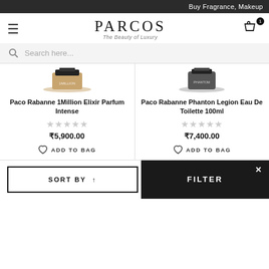Buy Fragrance, Makeup
[Figure (logo): Parcos - The Beauty of Luxury logo with hamburger menu and cart icon]
Search here...
Paco Rabanne 1Million Elixir Parfum Intense
★★★★★ (unrated)
₹5,900.00
ADD TO BAG
Paco Rabanne Phanton Legion Eau De Toilette 100ml
★★★★★ (unrated)
₹7,400.00
ADD TO BAG
SORT BY ↑
FILTER